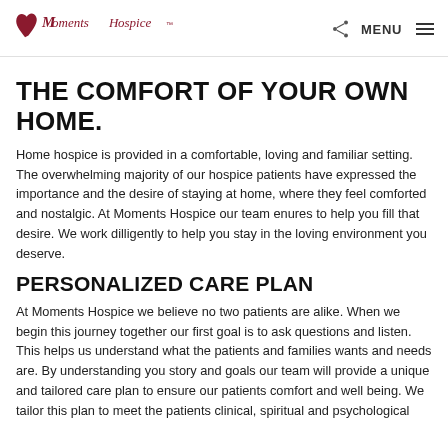Moments Hospice — MENU
THE COMFORT OF YOUR OWN HOME.
Home hospice is provided in a comfortable, loving and familiar setting. The overwhelming majority of our hospice patients have expressed the importance and the desire of staying at home, where they feel comforted and nostalgic. At Moments Hospice our team enures to help you fill that desire. We work dilligently to help you stay in the loving environment you deserve.
PERSONALIZED CARE PLAN
At Moments Hospice we believe no two patients are alike. When we begin this journey together our first goal is to ask questions and listen. This helps us understand what the patients and families wants and needs are. By understanding you story and goals our team will provide a unique and tailored care plan to ensure our patients comfort and well being. We tailor this plan to meet the patients clinical, spiritual and psychological